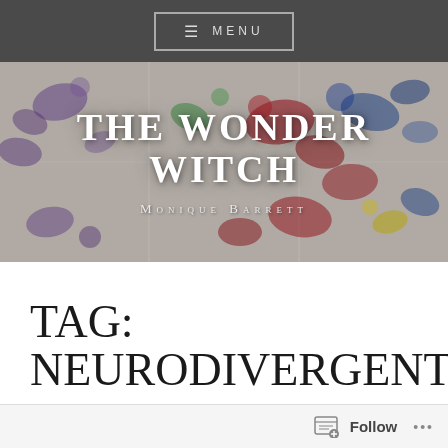≡ MENU
[Figure (illustration): Abstract colorful paint splatter artwork used as hero banner background for 'The Wonder Witch' blog by Monique Barrett]
THE WONDER WITCH
Monique Barrett
TAG: NEURODIVERGENT
Follow ...